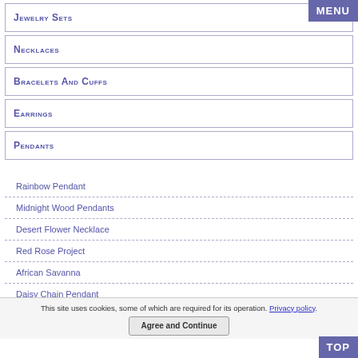MENU
Jewelry Sets
Necklaces
Bracelets And Cuffs
Earrings
Pendants
Rainbow Pendant
Midnight Wood Pendants
Desert Flower Necklace
Red Rose Project
African Savanna
Daisy Chain Pendant
This site uses cookies, some of which are required for its operation. Privacy policy.
Agree and Continue
TOP